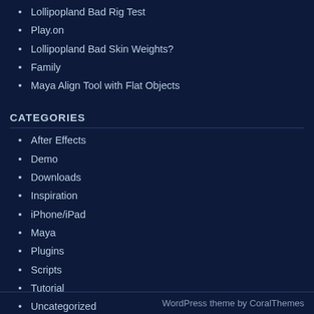Lollipopland Bad Rig Test
Play.on
Lollipopland Bad Skin Weights?
Family
Maya Align Tool with Flat Objects
CATEGORIES
After Effects
Demo
Downloads
Inspiration
iPhone/iPad
Maya
Plugins
Scripts
Tutorial
Uncategorized
WordPress theme by CoralThemes